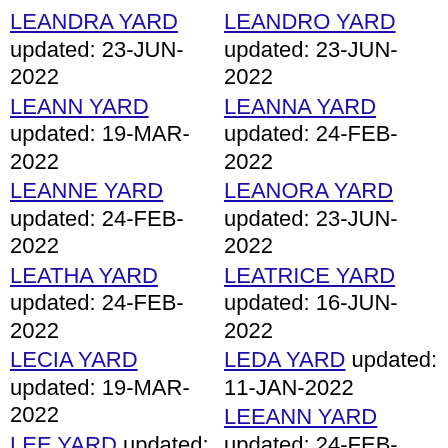LEANDRA YARD updated: 23-JUN-2022
LEANN YARD updated: 19-MAR-2022
LEANNE YARD updated: 24-FEB-2022
LEATHA YARD updated: 24-FEB-2022
LECIA YARD updated: 19-MAR-2022
LEE YARD updated: 22-APR-2022
LEEANNA YARD updated: 23-JUN-2022
LEENA YARD updated: 19-MAR-2022
LEIA YARD updated: 11-JAN-2022
LEIF YARD updated: 11-JAN-2022
LEANDRO YARD updated: 23-JUN-2022
LEANNA YARD updated: 24-FEB-2022
LEANORA YARD updated: 23-JUN-2022
LEATRICE YARD updated: 16-JUN-2022
LEDA YARD updated: 11-JAN-2022
LEEANN YARD updated: 24-FEB-2022
LEEANNE YARD updated: 23-JUN-2022
LEESA YARD updated: 19-MAR-2022
LEIDA YARD updated: 19-MAR-2022
LEIGH YARD updated: 19-MAR-2022